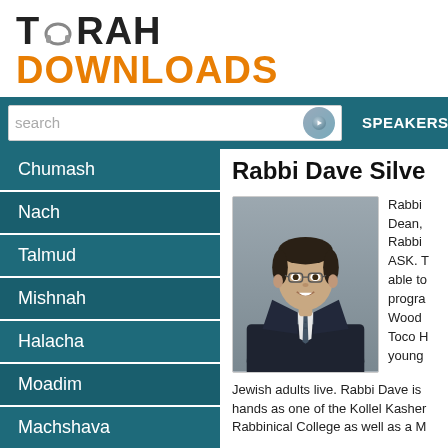TORAH DOWNLOADS
SPEAKERS  SHARE A SHIUR
Chumash
Nach
Talmud
Mishnah
Halacha
Moadim
Machshava
Family
Tefilla
Rabbi Dave Silve
[Figure (photo): Professional headshot of Rabbi Dave Silver, a man in a dark suit and tie with glasses, smiling]
Rabbi Dean, Rabbi ASK. T able to progra Wood Toco H young Jewish adults live. Rabbi Dave is hands as one of the Kollel Kasher Rabbinical College as well as a M Rabbi S of the ivisish M